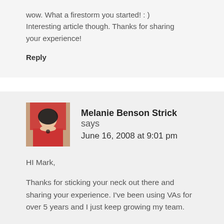wow. What a firestorm you started! : ) Interesting article though. Thanks for sharing your experience!
Reply
Melanie Benson Strick says
June 16, 2008 at 9:01 pm
HI Mark,
Thanks for sticking your neck out there and sharing your experience. I've been using VAs for over 5 years and I just keep growing my team.